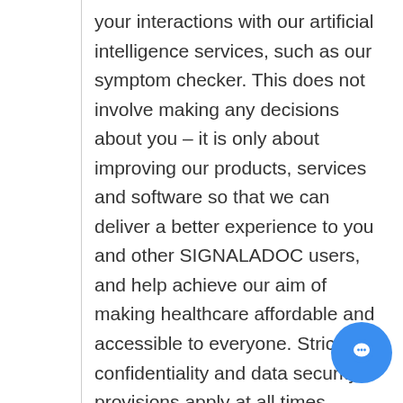your interactions with our artificial intelligence services, such as our symptom checker. This does not involve making any decisions about you – it is only about improving our products, services and software so that we can deliver a better experience to you and other SIGNALADOC users, and help achieve our aim of making healthcare affordable and accessible to everyone. Strict confidentiality and data security provisions apply at all times. • We may use strictly anonymised information (including medical information) to improve our healthcare